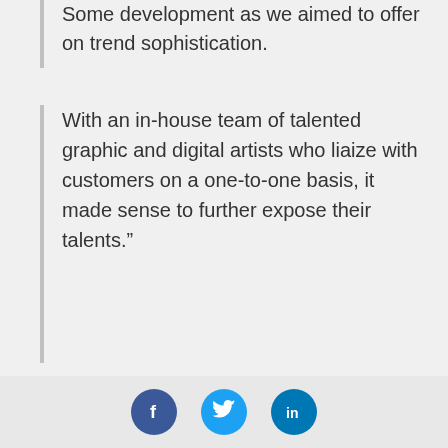Some development as we aimed to offer on trend sophistication.
With an in-house team of talented graphic and digital artists who liaize with customers on a one-to-one basis, it made sense to further expose their talents.”
The Wallsauce Collection sits within the designer category at Wallsauce.com with prices starting from $5.85/sq ft.
[Figure (photo): Dark background image with a grey circle on the left side and smaller rectangular color swatches on the right side showing grey, blue and pink textures.]
[Figure (infographic): Social media sharing icons: Facebook (dark blue circle with f), Twitter (light blue circle with bird), LinkedIn (blue circle with in)]